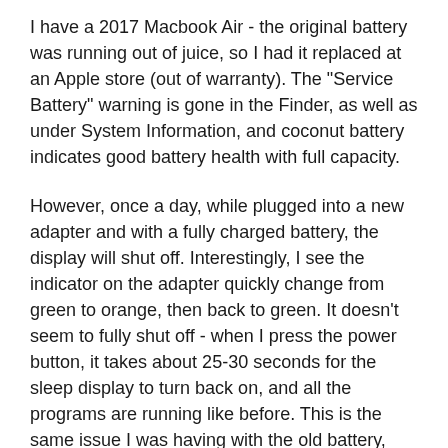I have a 2017 Macbook Air - the original battery was running out of juice, so I had it replaced at an Apple store (out of warranty). The "Service Battery" warning is gone in the Finder, as well as under System Information, and coconut battery indicates good battery health with full capacity.
However, once a day, while plugged into a new adapter and with a fully charged battery, the display will shut off. Interestingly, I see the indicator on the adapter quickly change from green to orange, then back to green. It doesn't seem to fully shut off - when I press the power button, it takes about 25-30 seconds for the sleep display to turn back on, and all the programs are running like before. This is the same issue I was having with the old battery, except that one of course had lowered capacity and the service battery warning.
The issue has persisted despite resetting the SMC and